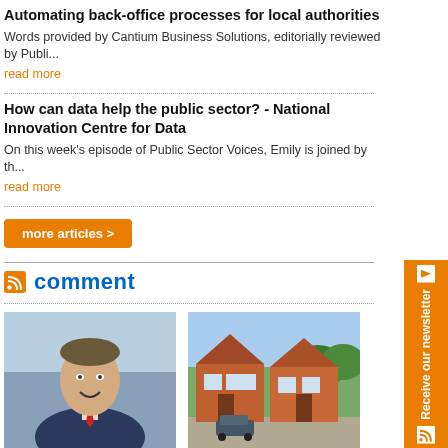Automating back-office processes for local authorities
Words provided by Cantium Business Solutions, editorially reviewed by Publi...
read more
How can data help the public sector? - National Innovation Centre for Data
On this week's episode of Public Sector Voices, Emily is joined by th...
read more
comment
[Figure (photo): Portrait photo of Peter Kyle MP in suit]
Peter Kyle MP: It's time to say thank you this Public Service Day
[Figure (photo): Photo of brick residential houses]
How community-led initiatives can help save the housing shortage